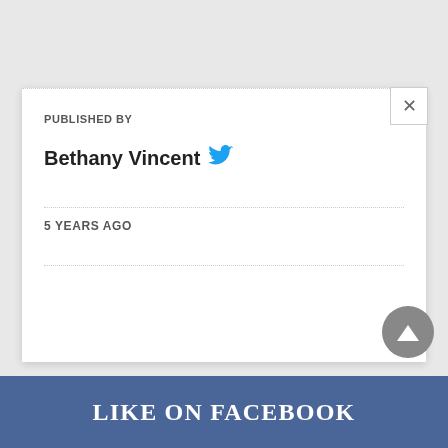PUBLISHED BY
Bethany Vincent
5 YEARS AGO
LIKE ON FACEBOOK